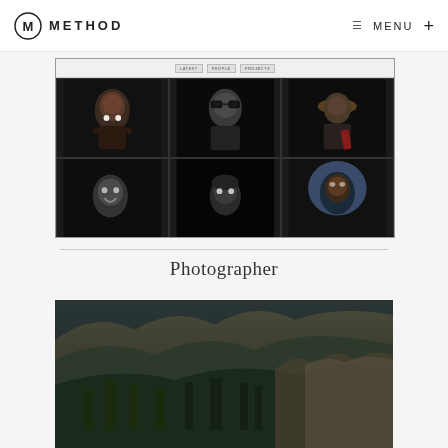METHOD — MENU
[Figure (screenshot): Screenshot of a photography website showing a grid of six black and white portrait photos in a 3x2 layout, with navigation buttons at top]
Photographer
[Figure (photo): Partial view of a dark landscape photo showing rocky cliffs and forest in dark green/grey tones]